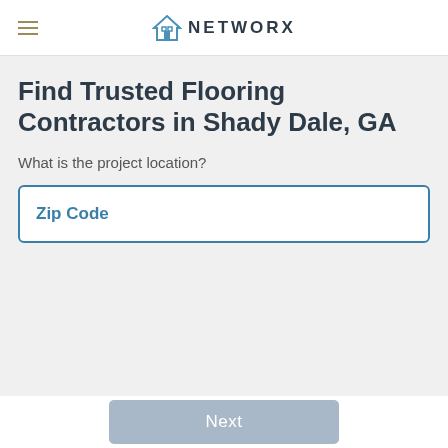NETWORX
Find Trusted Flooring Contractors in Shady Dale, GA
What is the project location?
Zip Code
Next